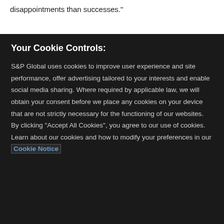disappointments than successes."
Your Cookie Controls:
S&P Global uses cookies to improve user experience and site performance, offer advertising tailored to your interests and enable social media sharing. Where required by applicable law, we will obtain your consent before we place any cookies on your device that are not strictly necessary for the functioning of our websites. By clicking "Accept All Cookies", you agree to our use of cookies. Learn about our cookies and how to modify your preferences in our Cookie Notice